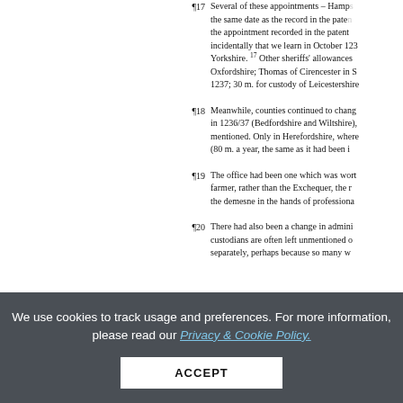¶17 Several of these appointments – Hampshire the same date as the record in the patent the appointment recorded in the patent r incidentally that we learn in October 123 Yorkshire. 17 Other sheriffs' allowances Oxfordshire; Thomas of Cirencester in S 1237; 30 m. for custody of Leicestershire
¶18 Meanwhile, counties continued to chang in 1236/37 (Bedfordshire and Wiltshire), mentioned. Only in Herefordshire, where (80 m. a year, the same as it had been i
¶19 The office had been one which was wort farmer, rather than the Exchequer, the r the demesne in the hands of professiona
¶20 There had also been a change in admini custodians are often left unmentioned o separately, perhaps because so many w
We use cookies to track usage and preferences. For more information, please read our Privacy & Cookie Policy.